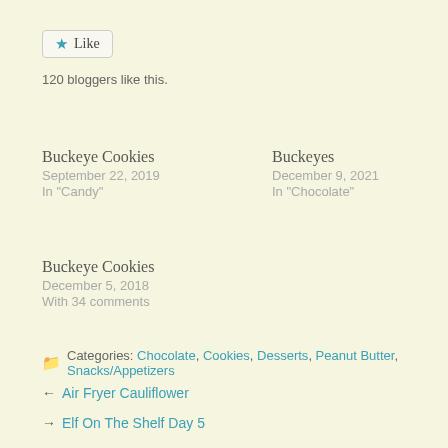[Figure (other): Like button with star icon]
120 bloggers like this.
Buckeye Cookies
September 22, 2019
In "Candy"
Buckeyes
December 9, 2021
In "Chocolate"
Buckeye Cookies
December 5, 2018
With 34 comments
Categories: Chocolate, Cookies, Desserts, Peanut Butter, Snacks/Appetizers
← Air Fryer Cauliflower
→ Elf On The Shelf Day 5